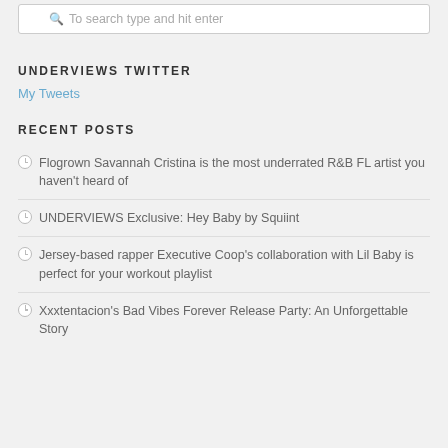To search type and hit enter
UNDERVIEWS TWITTER
My Tweets
RECENT POSTS
Flogrown Savannah Cristina is the most underrated R&B FL artist you haven't heard of
UNDERVIEWS Exclusive: Hey Baby by Squiint
Jersey-based rapper Executive Coop's collaboration with Lil Baby is perfect for your workout playlist
Xxxtentacion's Bad Vibes Forever Release Party: An Unforgettable Story